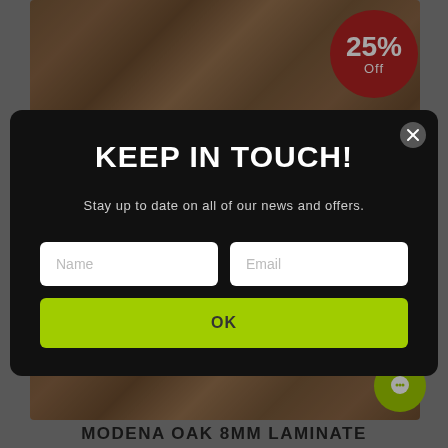[Figure (photo): Dark wood laminate flooring product photo with a red 25% Off discount badge in the top right corner]
KEEP IN TOUCH!
Stay up to date on all of our news and offers.
Name
Email
OK
MODENA OAK 8MM LAMINATE